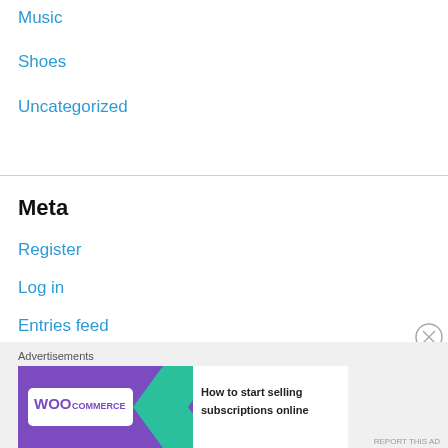Music
Shoes
Uncategorized
Meta
Register
Log in
Entries feed
Comments feed
WordPress.com
View Full Site
Advertisements
[Figure (infographic): WooCommerce advertisement banner: 'How to start selling subscriptions online']